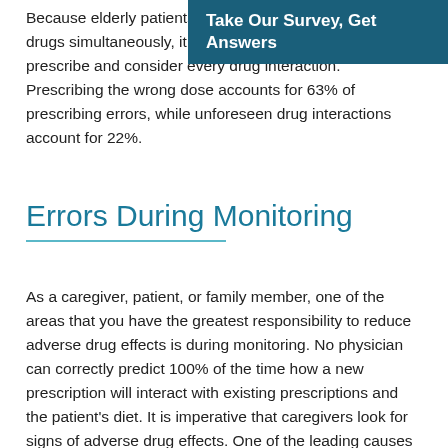Take Our Survey, Get Answers
Because elderly patients are [taking many] kinds of drugs simultaneously, it can be very difficult to properly prescribe and consider every drug interaction. Prescribing the wrong dose accounts for 63% of prescribing errors, while unforeseen drug interactions account for 22%.
Errors During Monitoring
As a caregiver, patient, or family member, one of the areas that you have the greatest responsibility to reduce adverse drug effects is during monitoring. No physician can correctly predict 100% of the time how a new prescription will interact with existing prescriptions and the patient's diet. It is imperative that caregivers look for signs of adverse drug effects. One of the leading causes of errors is the failure to respond or to respond too late to signs and symptoms of